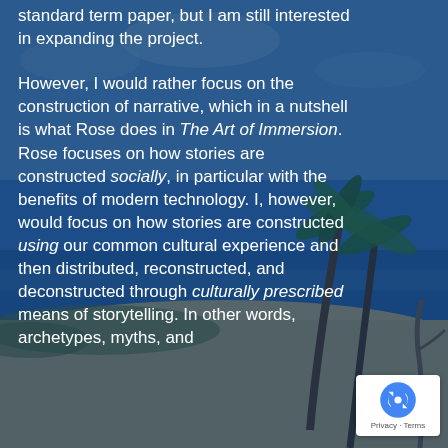[Figure (photo): Tropical beach scene with palm trees, blue sky, and sandy shore, partially overlaid with a semi-transparent dark blue overlay]
standard term paper, but I am still interested in expanding the project.

However, I would rather focus on the construction of narrative, which in a nutshell is what Rose does in The Art of Immersion. Rose focuses on how stories are constructed socially, in particular with the benefits of modern technology. I, however, would focus on how stories are constructed using our common cultural experience and then distributed, reconstructed, and deconstructed through culturally prescribed means of storytelling. In other words, archetypes, myths, and principles like...